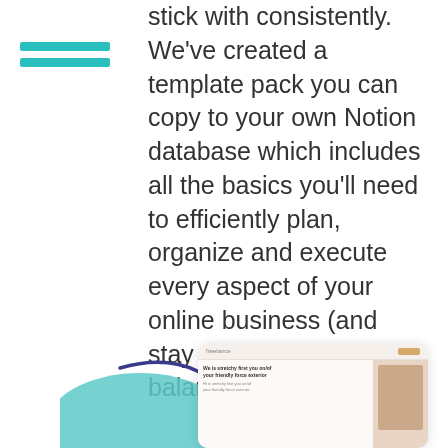stick with consistently. We've created a template pack you can copy to your own Notion database which includes all the basics you'll need to efficiently plan, organize and execute every aspect of your online business (and stay on top of your life balance in the process!)
[Figure (screenshot): A curved teal/mint arrow pointing to a website screenshot showing a page titled 'freelance' with a warm-toned layout and an image on the right side.]